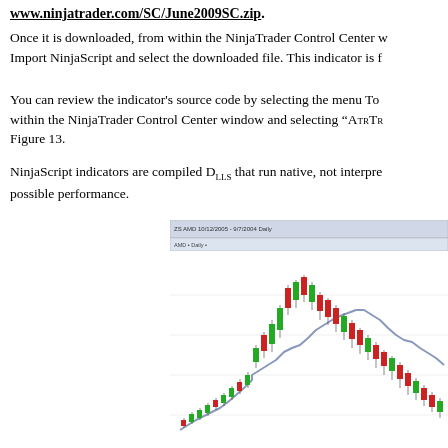www.ninjatrader.com/SC/June2009SC.zip.
Once it is downloaded, from within the NinjaTrader Control Center w... Import NinjaScript and select the downloaded file. This indicator is f...
You can review the indicator's source code by selecting the menu To... within the NinjaTrader Control Center window and selecting "AtrTr... Figure 13.
NinjaScript indicators are compiled DLLs that run native, not interpre... possible performance.
[Figure (screenshot): NinjaTrader chart screenshot showing AMD daily candlestick chart with ATR trailing stop indicator overlay. The chart displays price candlesticks in red/green with a stepped blue/grey line representing the ATR trailing stop level, showing an uptrend followed by a peak and decline.]